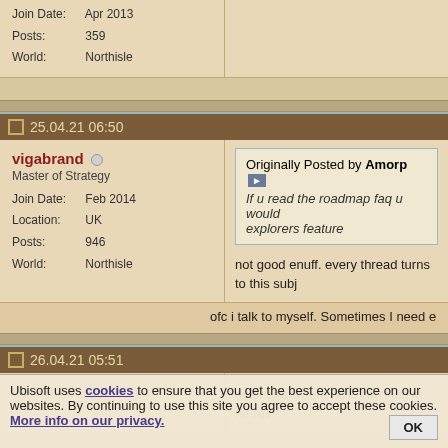Join Date: Apr 2013
Posts: 359
World: Northisle
25.04.21 06:50
vigabrand
Master of Strategy
Join Date: Feb 2014
Location: UK
Posts: 946
World: Northisle
Originally Posted by Amorp — If u read the roadmap faq u would... explorers feature
not good enuff. every thread turns to this subj
ofc i talk to myself. Sometimes I need e
26.04.21 05:51
Ruler of the Land
doldrums where 30% can't log in...he res
Ubisoft uses cookies to ensure that you get the best experience on our websites. By continuing to use this site you agree to accept these cookies. More info on our privacy.